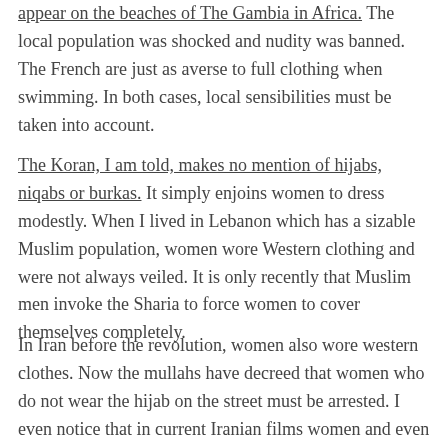appear on the beaches of The Gambia in Africa. The local population was shocked and nudity was banned. The French are just as averse to full clothing when swimming. In both cases, local sensibilities must be taken into account.
The Koran, I am told, makes no mention of hijabs, niqabs or burkas. It simply enjoins women to dress modestly. When I lived in Lebanon which has a sizable Muslim population, women wore Western clothing and were not always veiled. It is only recently that Muslim men invoke the Sharia to force women to cover themselves completely.
In Iran before the revolution, women also wore western clothes. Now the mullahs have decreed that women who do not wear the hijab on the street must be arrested. I even notice that in current Iranian films women and even little girls are shown wearing shawls and head covering inside their own